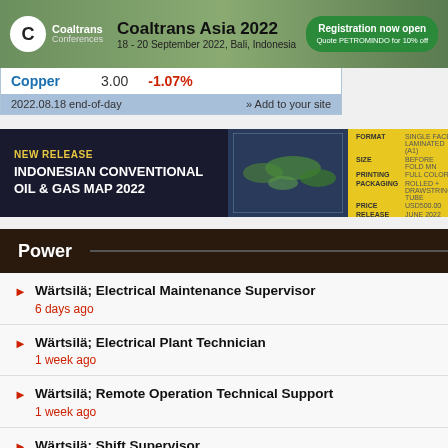[Figure (infographic): Coaltrans Asia 2022 conference banner. Logo on left, title 'Coaltrans Asia 2022', date '18 - 20 September 2022, Bali, Indonesia', green registration button 'Registration now open, Quote PETROMINDO for 10% off']
| Commodity | Price | Change |
| --- | --- | --- |
| Copper | 3.00 | -1.07% |
2022.08.18 end-of-day   » Add to your site
[Figure (infographic): Indonesian Conventional Oil & Gas Map 2022 advertisement. Dark background with 'NEW RELEASE' in yellow, title in white, map image center, yellow specifications panel on right with format, size, printing, packaging, price, release, code details.]
Power
Wärtsilä; Electrical Maintenance Supervisor
6 days ago
Wärtsilä; Electrical Plant Technician
1 week ago
Wärtsilä; Remote Operation Technical Support
1 week ago
Wärtsilä; Shift Supervisor
1 week ago